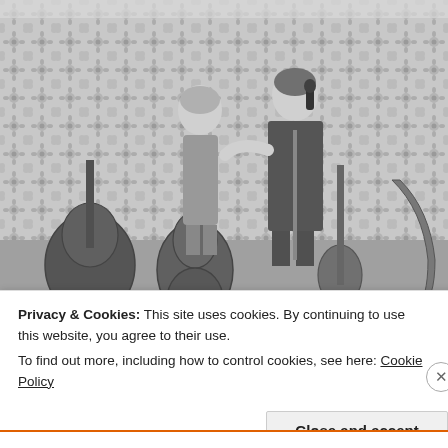[Figure (photo): Black and white photograph of two people performing music indoors. A woman stands on the left and a man sings into a microphone on the right. Several guitars are visible leaning against the wall and on stands. The background wall has a floral wallpaper pattern.]
Privacy & Cookies: This site uses cookies. By continuing to use this website, you agree to their use.
To find out more, including how to control cookies, see here: Cookie Policy
Close and accept